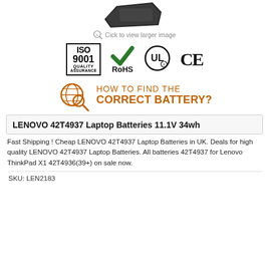[Figure (photo): Partial view of a Lenovo laptop battery at the top of the page]
Click to view larger image
[Figure (logo): Certification badges: ISO 9001 Quality Assurance, RoHS checkmark, UL circle logo, CE mark]
[Figure (infographic): HOW TO FIND THE CORRECT BATTERY? banner with globe and magnifying glass icon in orange]
LENOVO 42T4937 Laptop Batteries 11.1V 34wh
Fast Shipping ! Cheap LENOVO 42T4937 Laptop Batteries in UK. Deals for high quality LENOVO 42T4937 Laptop Batteries. All batteries 42T4937 for Lenovo ThinkPad X1 42T4936(39+) on sale now.
SKU: LEN2183